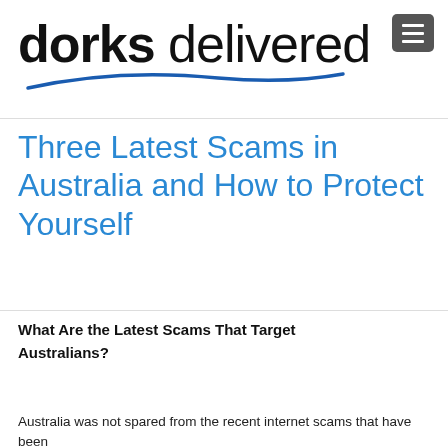dorks delivered
Three Latest Scams in Australia and How to Protect Yourself
What Are the Latest Scams That Target Australians?
Australia was not spared from the recent internet scams that have been